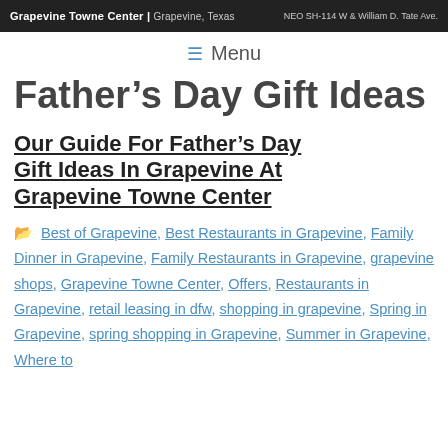Grapevine Towne Center | Grapevine, Texas  NEO SH-114 W & William D. Tate Ave.
≡  Menu
Father's Day Gift Ideas
Our Guide For Father's Day Gift Ideas In Grapevine At Grapevine Towne Center
Best of Grapevine, Best Restaurants in Grapevine, Family Dinner in Grapevine, Family Restaurants in Grapevine, grapevine shops, Grapevine Towne Center, Offers, Restaurants in Grapevine, retail leasing in dfw, shopping in grapevine, Spring in Grapevine, spring shopping in Grapevine, Summer in Grapevine, Where to